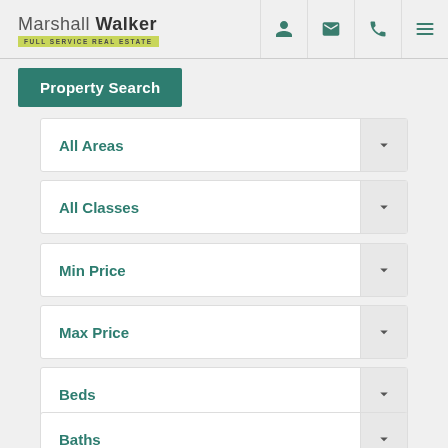Marshall Walker — Full Service Real Estate
Property Search
All Areas
All Classes
Min Price
Max Price
Beds
Baths